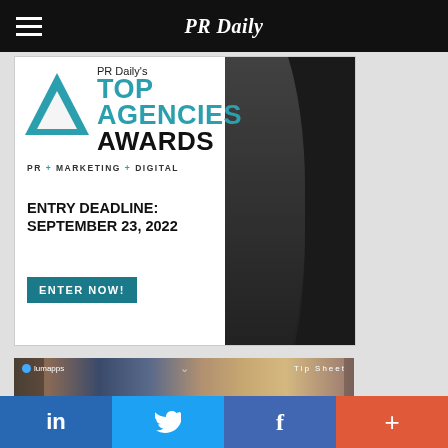PR Daily
[Figure (illustration): PR Daily's Top Agencies Awards advertisement banner. Features a teal triangle logo, text reading PR Daily's TOP AGENCIES AWARDS, PR + MARKETING + DIGITAL, ENTRY DEADLINE: SEPTEMBER 23, 2022, and an ENTER NOW! button. Dark swoosh background on right side.]
[Figure (photo): Photo of diverse group of smiling/laughing people. LuMApps logo in top-left corner, Tip Sheet text in top-right, chevron icon in top-center.]
in  (LinkedIn)  Twitter bird  f (Facebook)  + (More)